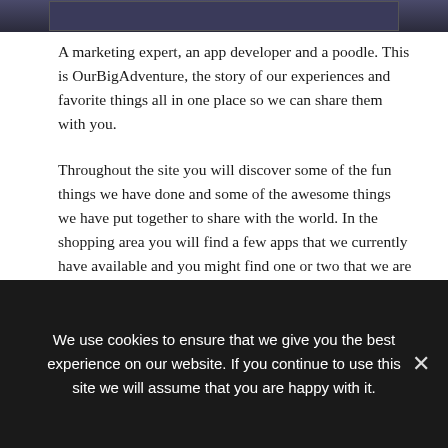[Figure (photo): Partial view of a photo showing a person and a poodle, dark blue/moody aesthetic, top portion of image cropped]
A marketing expert, an app developer and a poodle. This is OurBigAdventure, the story of our experiences and favorite things all in one place so we can share them with you.
Throughout the site you will discover some of the fun things we have done and some of the awesome things we have put together to share with the world. In the shopping area you will find a few apps that we currently have available and you might find one or two that we are about to release.
We use cookies to ensure that we give you the best experience on our website. If you continue to use this site we will assume that you are happy with it.